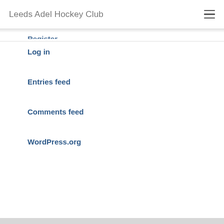Leeds Adel Hockey Club
Register
Log in
Entries feed
Comments feed
WordPress.org
Related Posts